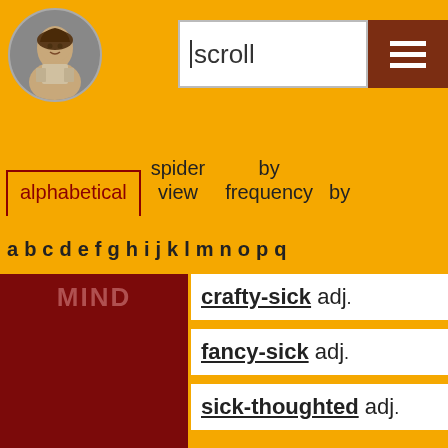[Figure (illustration): Circular portrait of William Shakespeare on yellow background]
scroll
alphabetical | spider view | by frequency | by
a b c d e f g h i j k l m n o p q
MIND
crafty-sick adj.
fancy-sick adj.
sick-thoughted adj.